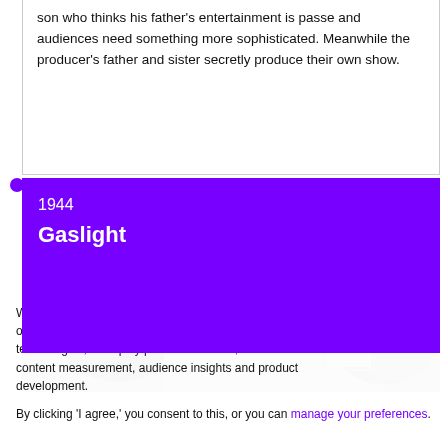son who thinks his father's entertainment is passe and audiences need something more sophisticated. Meanwhile the producer's father and sister secretly produce their own show.
1944
Gaslight
[Figure (photo): Black and white photograph showing the backs of two people's heads]
We and our partners will store and/or access personal data on your device through the use of cookies and similar technologies, to display personalised ads, for ad and content measurement, audience insights and product development.
By clicking 'I agree,' you consent to this, or you can manage your preferences.